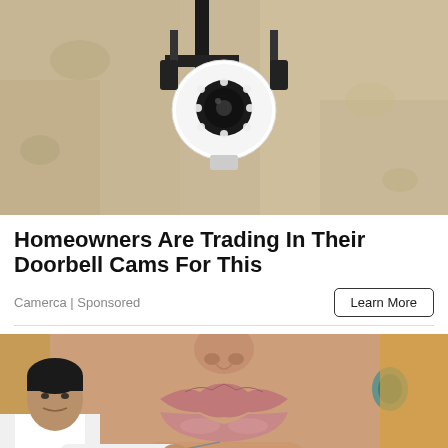[Figure (photo): Security camera mounted on a wall bracket against a stone/stucco wall background. The camera has a circular lens with LED ring lights.]
Homeowners Are Trading In Their Doorbell Cams For This
Camerca | Sponsored
Learn More
[Figure (photo): Close-up of a woman's face with blonde hair and teal earrings, with a man in a white shirt appearing to perform a cosmetic procedure near her lips.]